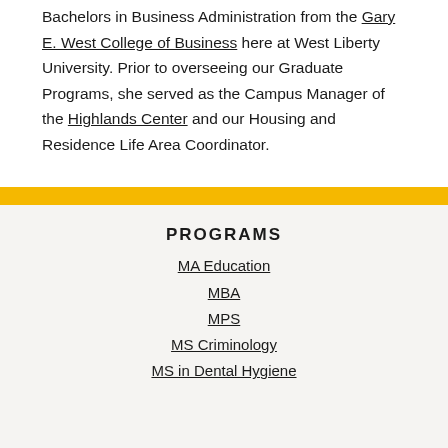Bachelors in Business Administration from the Gary E. West College of Business here at West Liberty University. Prior to overseeing our Graduate Programs, she served as the Campus Manager of the Highlands Center and our Housing and Residence Life Area Coordinator.
PROGRAMS
MA Education
MBA
MPS
MS Criminology
MS in Dental Hygiene